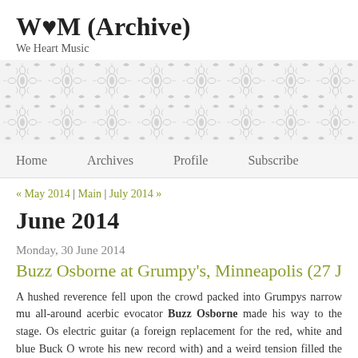W♥M (Archive)
We Heart Music
[Figure (illustration): Decorative damask/floral pattern banner in light grey on white background]
Home   Archives   Profile   Subscribe
« May 2014 | Main | July 2014 »
June 2014
Monday, 30 June 2014
Buzz Osborne at Grumpy's, Minneapolis (27 Ju...
A hushed reverence fell upon the crowd packed into Grumpys narrow mu... all-around acerbic evocator Buzz Osborne made his way to the stage. Os... electric guitar (a foreign replacement for the red, white and blue Buck O... wrote his new record with) and a weird tension filled the air; folks seeme...